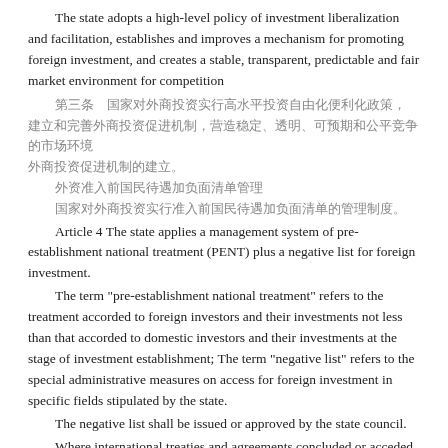The state adopts a high-level policy of investment liberalization and facilitation, establishes and improves a mechanism for promoting foreign investment, and creates a stable, transparent, predictable and fair market environment for competition
[CJK text - Article 3 Chinese]
[CJK text paragraph]
[CJK text line]
[CJK text line]
Article 4 The state applies a management system of pre-establishment national treatment (PENT) plus a negative list for foreign investment.
The term "pre-establishment national treatment" refers to the treatment accorded to foreign investors and their investments not less than that accorded to domestic investors and their investments at the stage of investment establishment; The term "negative list" refers to the special administrative measures on access for foreign investment in specific fields stipulated by the state.
The negative list shall be issued or approved by the state council.
Where international treaties and agreements concluded or acceded to by the People's Republic of China provide more preferential treatment for foreign investors, relevant provisions may be followed.
[CJK text - Article 5 Chinese]
Article 5 The investments of a foreign investor in China, the profits it earns